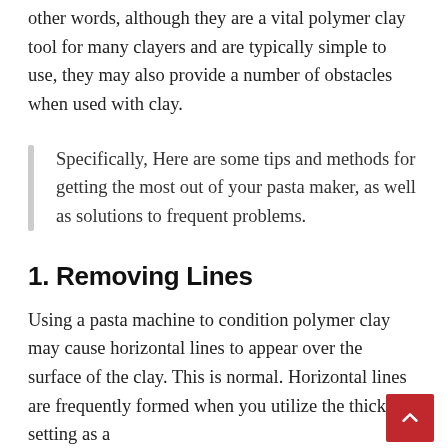other words, although they are a vital polymer clay tool for many clayers and are typically simple to use, they may also provide a number of obstacles when used with clay.
Specifically, Here are some tips and methods for getting the most out of your pasta maker, as well as solutions to frequent problems.
1. Removing Lines
Using a pasta machine to condition polymer clay may cause horizontal lines to appear over the surface of the clay. This is normal. Horizontal lines are frequently formed when you utilize the thickest setting as a